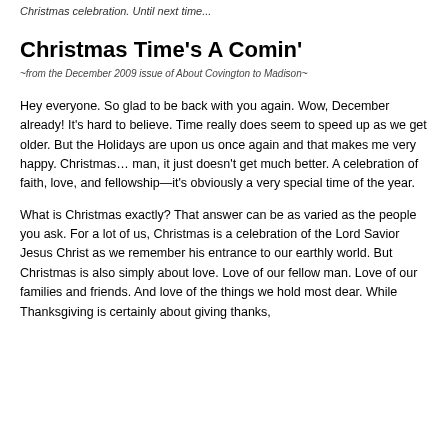Christmas celebration. Until next time...
Christmas Time's A Comin'
~from the December 2009 issue of About Covington to Madison~
Hey everyone. So glad to be back with you again. Wow, December already! It's hard to believe. Time really does seem to speed up as we get older. But the Holidays are upon us once again and that makes me very happy. Christmas… man, it just doesn't get much better. A celebration of faith, love, and fellowship—it's obviously a very special time of the year.
What is Christmas exactly? That answer can be as varied as the people you ask. For a lot of us, Christmas is a celebration of the Lord Savior Jesus Christ as we remember his entrance to our earthly world. But Christmas is also simply about love. Love of our fellow man. Love of our families and friends. And love of the things we hold most dear. While Thanksgiving is certainly about giving thanks,